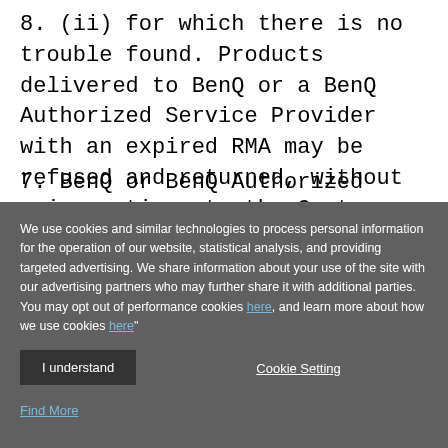8. (ii) for which there is no trouble found. Products delivered to BenQ or a BenQ Authorized Service Provider with an expired RMA may be refused and returned, without prior notice, to the Customer freight collect.
7. BenQ or BenQ Authorized Service Provider will
We use cookies and similar technologies to process personal information for the operation of our website, statistical analysis, and providing targeted advertising. We share information about your use of the site with our advertising partners who may further share it with additional parties. You may opt out of performance cookies here, and learn more about how we use cookies here"
I understand
Cookie Setting
Find More